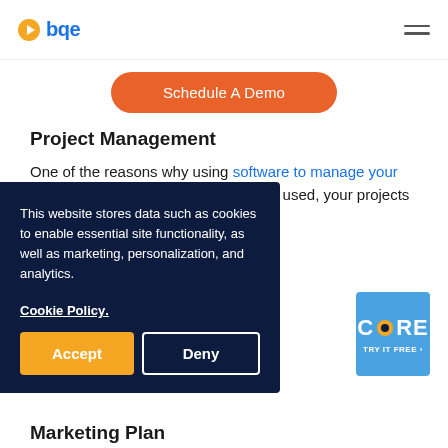bqe
Schedule A Demo
Project Management
One of the reasons why using software to manage your projects is essential is, when properly used, your projects and people will be [partially obscured] ure you hours opposed
This website stores data such as cookies to enable essential site functionality, as well as marketing, personalization, and analytics.
Cookie Policy.
Accept
Deny
[Figure (logo): CORE - TRY IT FREE > logo in blue panel]
Marketing Plan